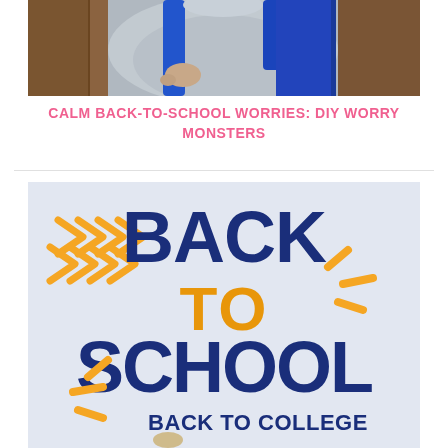[Figure (photo): Person wearing a blue backpack and light gray t-shirt, partial view of torso and hands]
CALM BACK-TO-SCHOOL WORRIES: DIY WORRY MONSTERS
[Figure (illustration): Back to school graphic with large bold text reading BACK TO SCHOOL in dark navy blue, TO in orange/amber, with orange arrow chevrons on the left side, orange accent lines on the right, and BACK TO COLLEGE text at the bottom. Light gray/blue background.]